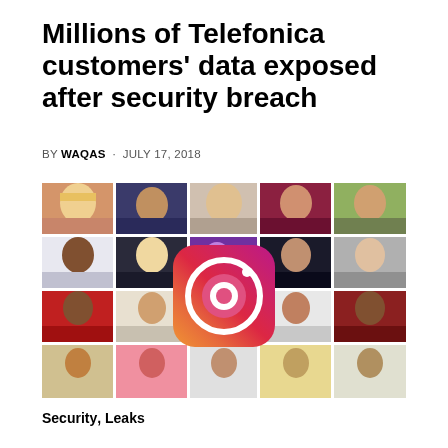Millions of Telefonica customers' data exposed after security breach
BY WAQAS · JULY 17, 2018
[Figure (photo): Instagram logo overlaid on a collage grid of social media profile photos of various people]
Security, Leaks